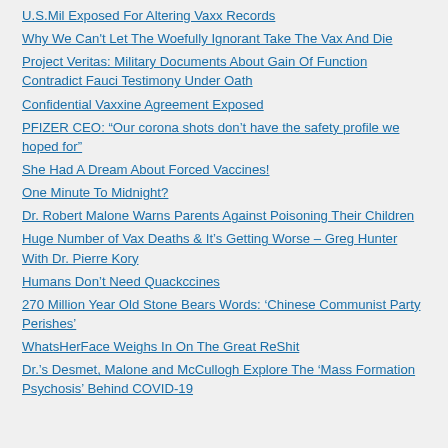U.S.Mil Exposed For Altering Vaxx Records
Why We Can't Let The Woefully Ignorant Take The Vax And Die
Project Veritas: Military Documents About Gain Of Function Contradict Fauci Testimony Under Oath
Confidential Vaxxine Agreement Exposed
PFIZER CEO: “Our corona shots don’t have the safety profile we hoped for”
She Had A Dream About Forced Vaccines!
One Minute To Midnight?
Dr. Robert Malone Warns Parents Against Poisoning Their Children
Huge Number of Vax Deaths & It’s Getting Worse – Greg Hunter With Dr. Pierre Kory
Humans Don’t Need Quackccines
270 Million Year Old Stone Bears Words: ‘Chinese Communist Party Perishes’
WhatsHerFace Weighs In On The Great ReShit
Dr.’s Desmet, Malone and McCullogh Explore The ‘Mass Formation Psychosis’ Behind COVID-19